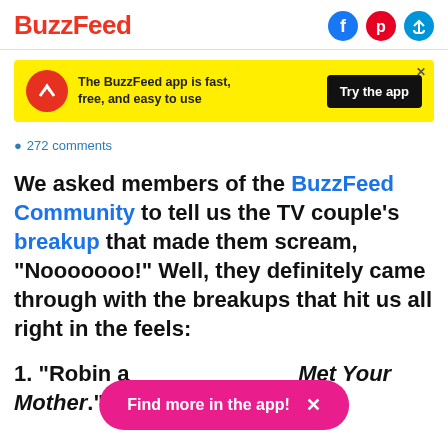BuzzFeed
[Figure (screenshot): BuzzFeed app advertisement banner: yellow background with red circular BuzzFeed logo with white arrow, text 'The BuzzFeed app is fast, free, and easy to use', black 'Try the app' button, and X close button]
272 comments
We asked members of the BuzzFeed Community to tell us the TV couple's breakup that made them scream, "Nooooooo!" Well, they definitely came through with the breakups that hit us all right in the feels:
1. "Robin and Barney... How I Met Your Mother."
[Figure (other): Pink app promotion pill button: 'Find more in the app!' with X close button]